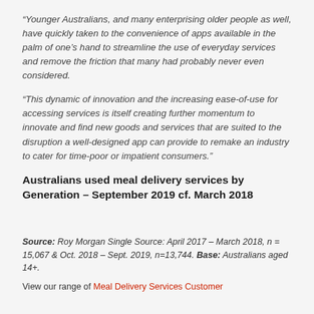“Younger Australians, and many enterprising older people as well, have quickly taken to the convenience of apps available in the palm of one’s hand to streamline the use of everyday services and remove the friction that many had probably never even considered.
“This dynamic of innovation and the increasing ease-of-use for accessing services is itself creating further momentum to innovate and find new goods and services that are suited to the disruption a well-designed app can provide to remake an industry to cater for time-poor or impatient consumers.”
Australians used meal delivery services by Generation – September 2019 cf. March 2018
Source: Roy Morgan Single Source: April 2017 – March 2018, n = 15,067 & Oct. 2018 – Sept. 2019, n=13,744. Base: Australians aged 14+.
View our range of Meal Delivery Services Customer